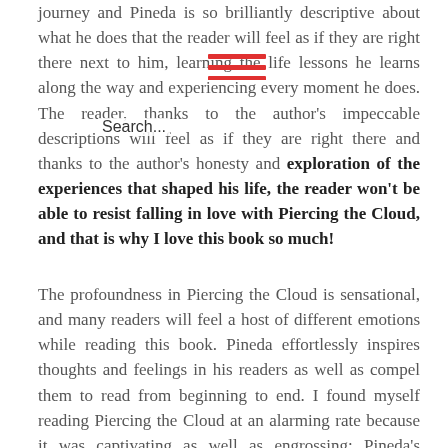journey and Pineda is so brilliantly descriptive about what he does that the reader will feel as if they are right there next to him, learning the life lessons he learns along the way and experiencing every moment he does. The reader, thanks to the author's impeccable descriptions will feel as if they are right there and thanks to the author's honesty and exploration of the experiences that shaped his life, the reader won't be able to resist falling in love with Piercing the Cloud, and that is why I love this book so much!
The profoundness in Piercing the Cloud is sensational, and many readers will feel a host of different emotions while reading this book. Pineda effortlessly inspires thoughts and feelings in his readers as well as compel them to read from beginning to end. I found myself reading Piercing the Cloud at an alarming rate because it was captivating as well as engrossing; Pineda's incredible literature will have you turning the pages frantically, and I adored how he was able to do this. As well as this Pineda has written his story in an